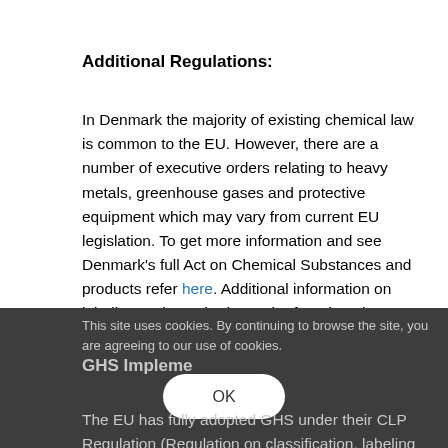Additional Regulations:
In Denmark the majority of existing chemical law is common to the EU. However, there are a number of executive orders relating to heavy metals, greenhouse gases and protective equipment which may vary from current EU legislation. To get more information and see Denmark's full Act on Chemical Substances and products refer here. Additional information on labeling and standards can be found on the European Chemicals Agency (ECHA) website.
This site uses cookies. By continuing to browse the site, you are agreeing to our use of cookies.
GHS Impleme...
The EU has fully adopted GHS under their CLP Regulation (Regulation on classification, labeling and